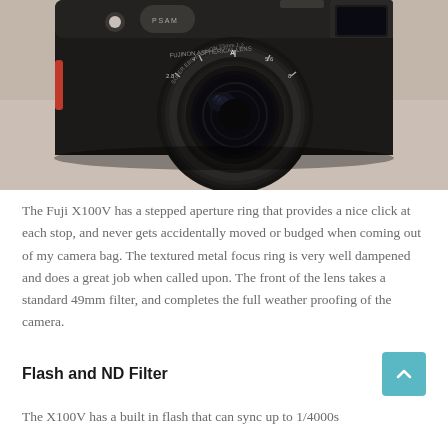[Figure (photo): A Fuji X100V camera photographed from the front, placed on a light beige/neutral surface. The black camera body is prominent with a large lens at center, showing the aperture ring and lens barrel details.]
The Fuji X100V has a stepped aperture ring that provides a nice click at each stop, and never gets accidentally moved or budged when coming out of my camera bag. The textured metal focus ring is very well dampened and does a great job when called upon. The front of the lens takes a standard 49mm filter, and completes the full weather proofing of the camera.
Flash and ND Filter
The X100V has a built in flash that can sync up to 1/4000s